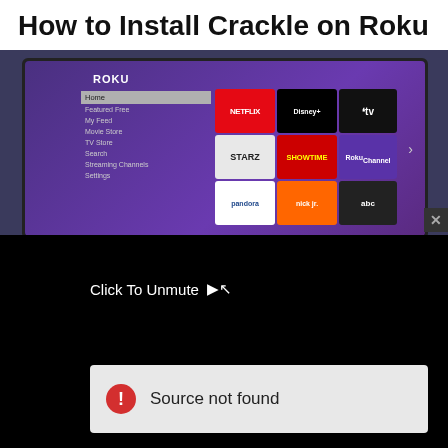How to Install Crackle on Roku
[Figure (screenshot): Roku TV interface showing channel menu with Netflix, Disney+, Apple TV, STARZ, SHOWTIME, Roku Channel, Pandora, Nick Jr, ABC]
[Figure (screenshot): Black video player screen with 'Click To Unmute' text and cursor icon, and an error bar showing 'Source not found' with a red warning icon]